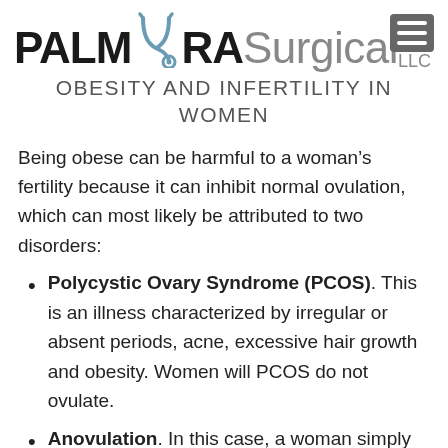[Figure (logo): Palmyra Surgical LLC logo with stethoscope graphic and hamburger menu icon]
OBESITY AND INFERTILITY IN WOMEN
Being obese can be harmful to a woman’s fertility because it can inhibit normal ovulation, which can most likely be attributed to two disorders:
Polycystic Ovary Syndrome (PCOS). This is an illness characterized by irregular or absent periods, acne, excessive hair growth and obesity. Women will PCOS do not ovulate.
Anovulation. In this case, a woman simply does not ovulate, most likely due to PCOS or hormone imbalances.